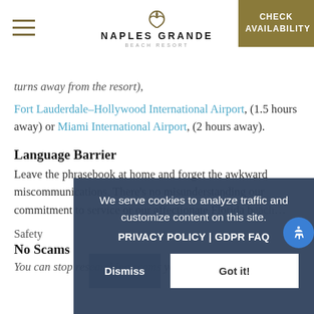Naples Grande Beach Resort — CHECK AVAILABILITY
turns away from the resort),
Fort Lauderdale–Hollywood International Airport, (1.5 hours away) or Miami International Airport, (2 hours away).
Language Barrier
Leave the phrasebook at home and forget the awkward miscommunications. There's no misunderstanding our commitment to service or our affectionate Florida beach...
Safety
No Scams
You can stop researching scams you might have heard
We serve cookies to analyze traffic and customize content on this site. PRIVACY POLICY | GDPR FAQ